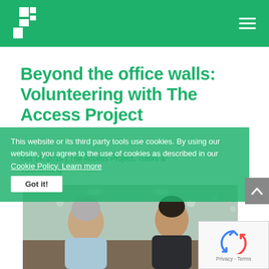The Access Project — navigation header with logo and hamburger menu
Beyond the office walls: Volunteering with The Access Project
Oct 14, 2019 | The Access Project, Tutors & Volunteering
This website or its third party tools use cookies. By using our website, you agree to the use of cookies as described in our Cookie Policy. Learn more
[Figure (photo): Two people sitting at a table together — an older man with grey hair in a light blue shirt and a younger man with dark hair in a dark jacket, appearing to be in a tutoring or mentoring session in an office environment.]
[Figure (other): Google reCAPTCHA verification widget with recycling arrows icon and Privacy - Terms text]